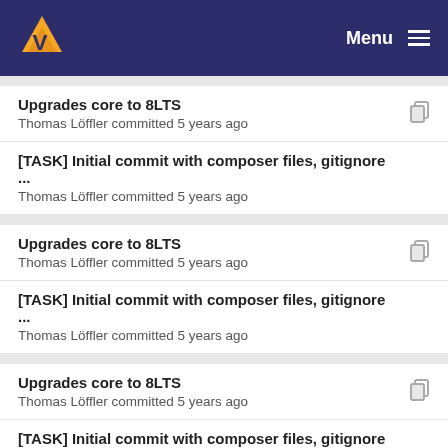Menu
Upgrades core to 8LTS
Thomas Löffler committed 5 years ago
[TASK] Initial commit with composer files, gitignore ...
Thomas Löffler committed 5 years ago
Upgrades core to 8LTS
Thomas Löffler committed 5 years ago
[TASK] Initial commit with composer files, gitignore ...
Thomas Löffler committed 5 years ago
Upgrades core to 8LTS
Thomas Löffler committed 5 years ago
[TASK] Initial commit with composer files, gitignore ...
Thomas Löffler committed 5 years ago